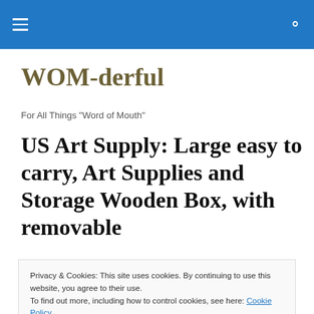WOM-derful navigation bar
WOM-derful
For All Things "Word of Mouth"
US Art Supply: Large easy to carry, Art Supplies and Storage Wooden Box, with removable
Privacy & Cookies: This site uses cookies. By continuing to use this website, you agree to their use.
To find out more, including how to control cookies, see here: Cookie Policy
Close and accept
[Figure (photo): Partial view of a dark image at the bottom of the page]